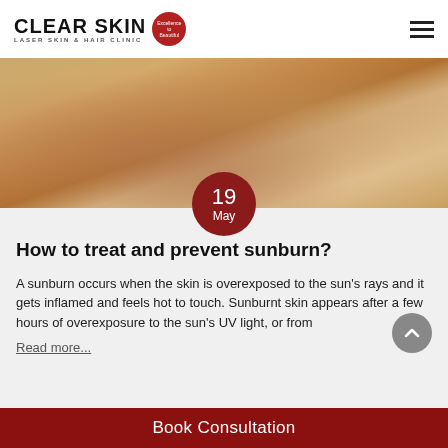CLEAR SKIN LASER SKIN & HAIR CLINIC
[Figure (photo): Beach scene with sandy background and partial view of person sunbathing]
19 May
How to treat and prevent sunburn?
A sunburn occurs when the skin is overexposed to the sun’s rays and it gets inflamed and feels hot to touch. Sunburnt skin appears after a few hours of overexposure to the sun’s UV light, or from
Read more...
Book Consultation